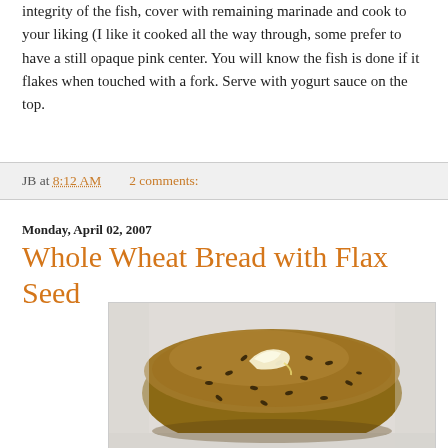integrity of the fish, cover with remaining marinade and cook to your liking (I like it cooked all the way through, some prefer to have a still opaque pink center. You will know the fish is done if it flakes when touched with a fork. Serve with yogurt sauce on the top.
JB at 8:12 AM    2 comments:
Monday, April 02, 2007
Whole Wheat Bread with Flax Seed
[Figure (photo): Close-up photo of a slice of whole wheat bread with flax seeds, with a pat of butter melting on top, on a white background.]